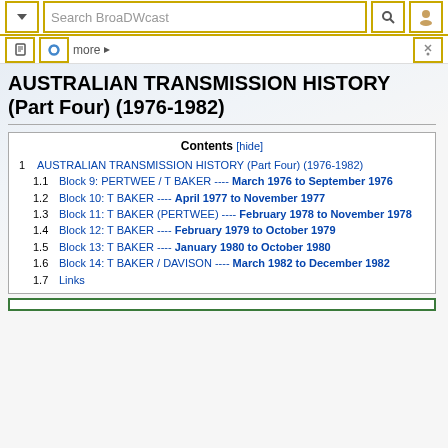Search BroaDWcast
AUSTRALIAN TRANSMISSION HISTORY (Part Four) (1976-1982)
Contents [hide]
1 AUSTRALIAN TRANSMISSION HISTORY (Part Four) (1976-1982)
1.1 Block 9: PERTWEE / T BAKER ---- March 1976 to September 1976
1.2 Block 10: T BAKER ---- April 1977 to November 1977
1.3 Block 11: T BAKER (PERTWEE) ---- February 1978 to November 1978
1.4 Block 12: T BAKER ---- February 1979 to October 1979
1.5 Block 13: T BAKER ---- January 1980 to October 1980
1.6 Block 14: T BAKER / DAVISON ---- March 1982 to December 1982
1.7 Links